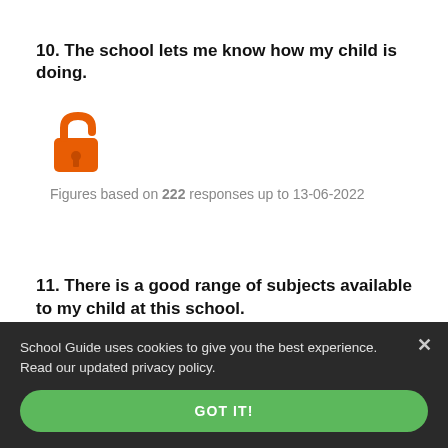10. The school lets me know how my child is doing.
[Figure (illustration): Orange unlocked padlock icon]
Figures based on 222 responses up to 13-06-2022
11. There is a good range of subjects available to my child at this school.
[Figure (illustration): Orange locked padlock icon (partially visible)]
School Guide uses cookies to give you the best experience. Read our updated privacy policy.
GOT IT!